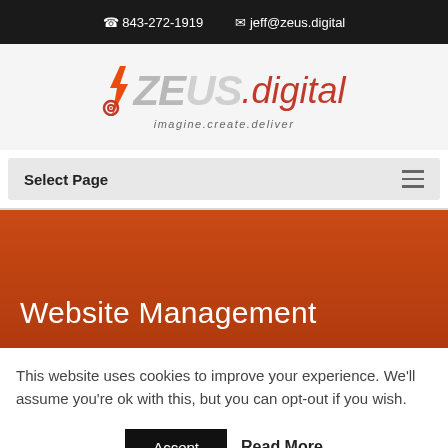843-272-1919  jeff@zeus.digital
[Figure (logo): ZEUS.digital logo with lightning bolt and target icon, tagline: imagine.create.deliver]
Select Page
Website Management
This website uses cookies to improve your experience. We'll assume you're ok with this, but you can opt-out if you wish.
Accept   Read More